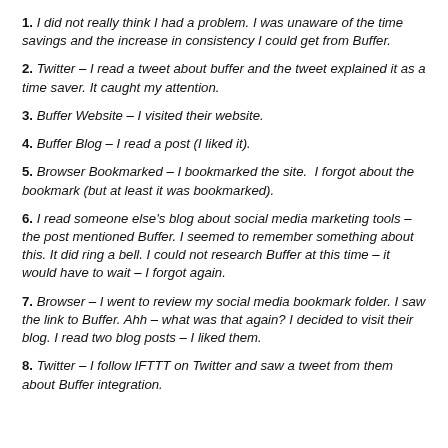1. I did not really think I had a problem. I was unaware of the time savings and the increase in consistency I could get from Buffer.
2. Twitter – I read a tweet about buffer and the tweet explained it as a time saver. It caught my attention.
3. Buffer Website – I visited their website.
4. Buffer Blog – I read a post (I liked it).
5. Browser Bookmarked – I bookmarked the site.  I forgot about the bookmark (but at least it was bookmarked).
6. I read someone else's blog about social media marketing tools – the post mentioned Buffer. I seemed to remember something about this. It did ring a bell. I could not research Buffer at this time – it would have to wait – I forgot again.
7. Browser – I went to review my social media bookmark folder. I saw the link to Buffer. Ahh – what was that again? I decided to visit their blog. I read two blog posts – I liked them.
8. Twitter – I follow IFTTT on Twitter and saw a tweet from them about Buffer integration.